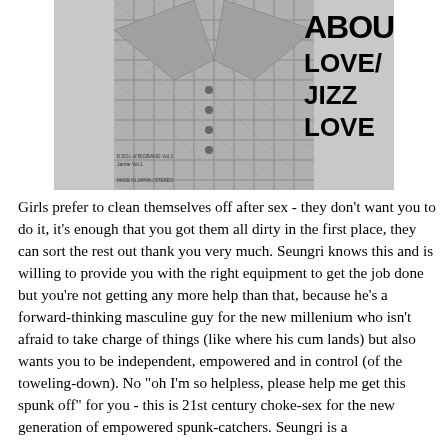[Figure (photo): Black and white album cover image showing a person in a plaid/checkered double-breasted suit jacket. Text on the right side reads 'ABOUT LOVE / JIZZ / LOVE' in large bold stylized typography. Small text at bottom reads 'MADE IN JAPAN | STEREO'. Additional small text visible on left side of image.]
Girls prefer to clean themselves off after sex - they don't want you to do it, it's enough that you got them all dirty in the first place, they can sort the rest out thank you very much. Seungri knows this and is willing to provide you with the right equipment to get the job done but you're not getting any more help than that, because he's a forward-thinking masculine guy for the new millenium who isn't afraid to take charge of things (like where his cum lands) but also wants you to be independent, empowered and in control (of the toweling-down).  No "oh I'm so helpless, please help me get this spunk off" for you - this is 21st century choke-sex for the new generation of empowered spunk-catchers.  Seungri is a